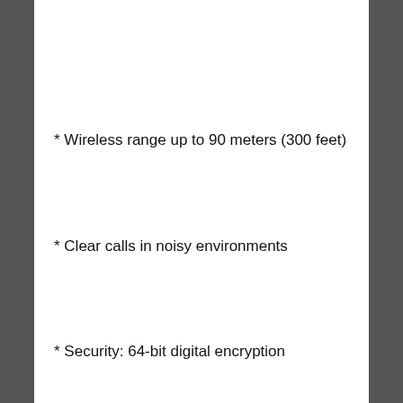* Wireless range up to 90 meters (300 feet)
* Clear calls in noisy environments
* Security: 64-bit digital encryption
* Conference call: Up to 4 units
* Three wearing styles: earbook, neckband